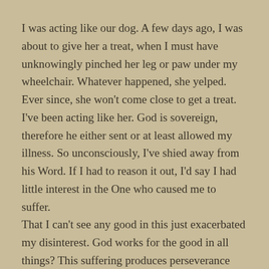I was acting like our dog.  A few days ago, I was about to give her a treat, when I must have unknowingly pinched her leg or paw under my wheelchair.  Whatever happened, she yelped.  Ever since, she won't come close to get a treat. I've been acting like her.  God is sovereign, therefore he either sent or at least allowed my illness.  So unconsciously, I've shied away from his Word.  If I had to reason it out, I'd say I had little interest in the One who caused me to suffer.
That I can't see any good in this just exacerbated my disinterest.  God works for the good in all things?  This suffering produces perseverance which produces proven character which enlarges my capacity to hope for coming glory?  My weakness increases my reliance on the Lord?  I didn't see any of that.  In my heart, none of it